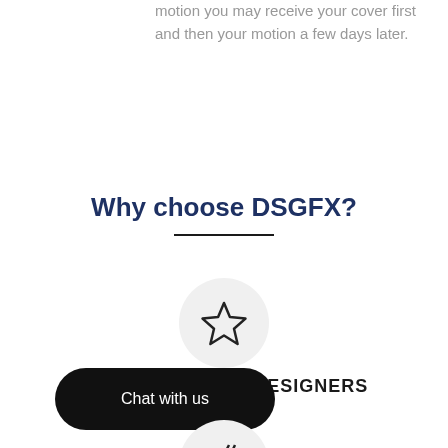motion you may receive your cover first and then your motion a few days later.
Why choose DSGFX?
[Figure (illustration): Star icon inside a light gray circle]
TH TOP GRAPHIC DESIGNERS
[Figure (illustration): Lightning bolt icon inside a light gray circle, partially visible at bottom]
[Figure (other): Chat with us button overlay (black rounded pill button)]